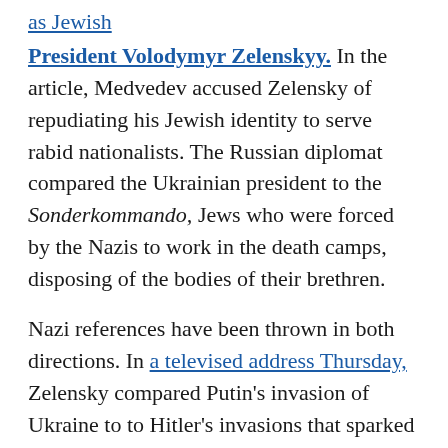as Jewish President Volodymyr Zelenskyy. In the article, Medvedev accused Zelensky of repudiating his Jewish identity to serve rabid nationalists. The Russian diplomat compared the Ukrainian president to the Sonderkommando, Jews who were forced by the Nazis to work in the death camps, disposing of the bodies of their brethren.
Nazi references have been thrown in both directions. In a televised address Thursday, Zelensky compared Putin's invasion of Ukraine to to Hitler's invasions that sparked World War II.